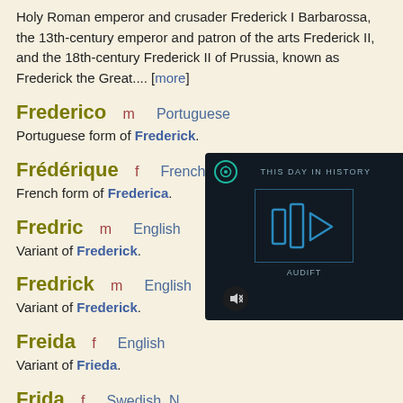Holy Roman emperor and crusader Frederick I Barbarossa, the 13th-century emperor and patron of the arts Frederick II, and the 18th-century Frederick II of Prussia, known as Frederick the Great.... [more]
Frederico   m   Portuguese
Portuguese form of Frederick.
Frédérique   f   French
French form of Frederica.
Fredric   m   English
Variant of Frederick.
Fredrick   m   English
Variant of Frederick.
Freida   f   English
Variant of Frieda.
Frida   f   Swedish, N...
Germanic name, originall...
[Figure (screenshot): Dark overlay panel showing 'THIS DAY IN HISTORY' with a stylized blue audio/video player logo and a mute button icon, branded 'AUDIFT']